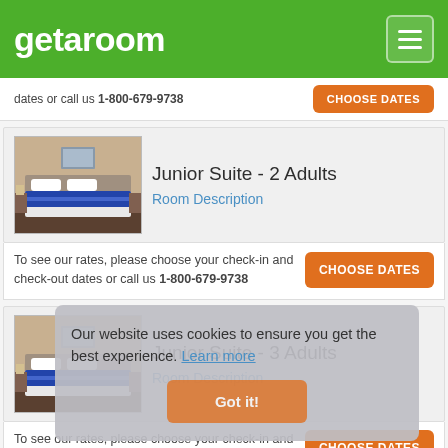getaroom
dates or call us 1-800-679-9738
Junior Suite - 2 Adults
Room Description
To see our rates, please choose your check-in and check-out dates or call us 1-800-679-9738
Junior Suite - 3 Adults
Room Description
To see our rates, please choose your check-in and check-out dates or call us 1-800-679-9738
Our website uses cookies to ensure you get the best experience. Learn more
Got it!
Junior Suite Presidential Royal